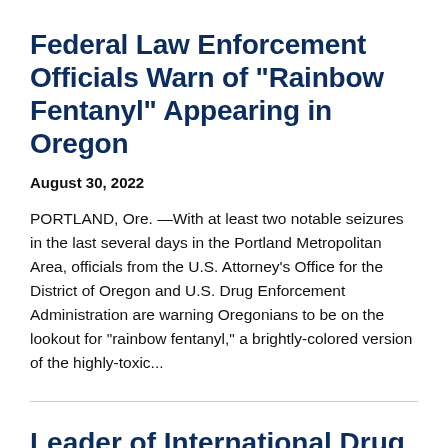Federal Law Enforcement Officials Warn of "Rainbow Fentanyl" Appearing in Oregon
August 30, 2022
PORTLAND, Ore. —With at least two notable seizures in the last several days in the Portland Metropolitan Area, officials from the U.S. Attorney's Office for the District of Oregon and U.S. Drug Enforcement Administration are warning Oregonians to be on the lookout for “rainbow fentanyl,” a brightly-colored version of the highly-toxic...
Leader of International Drug